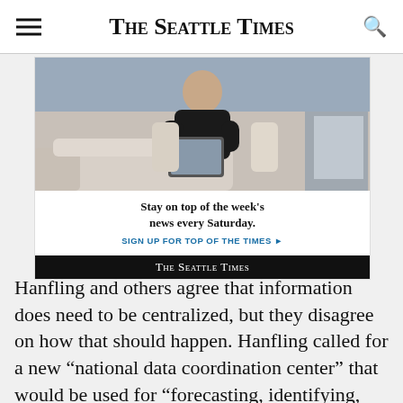The Seattle Times
[Figure (photo): Advertisement for The Seattle Times newsletter showing a person sitting on a couch holding a tablet, with text 'Stay on top of the week's news every Saturday. SIGN UP FOR TOP OF THE TIMES' and The Seattle Times logo on a black bar.]
Hanfling and others agree that information does need to be centralized, but they disagree on how that should happen. Hanfling called for a new “national data coordination center” that would be used for “forecasting, identifying, detecting, tracking and reporting on emerging diseases.”